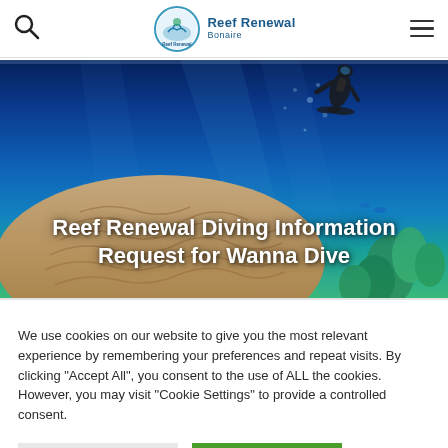Reef Renewal Bonaire — navigation header with search icon and menu icon
[Figure (photo): Underwater photo showing a large brain coral in the foreground and a scuba diver in the background against a vivid blue ocean backdrop with reef corals]
Reef Renewal Diving Information Request for Wanna Dive
We use cookies on our website to give you the most relevant experience by remembering your preferences and repeat visits. By clicking "Accept All", you consent to the use of ALL the cookies. However, you may visit "Cookie Settings" to provide a controlled consent.
Cookie Settings | Accept All